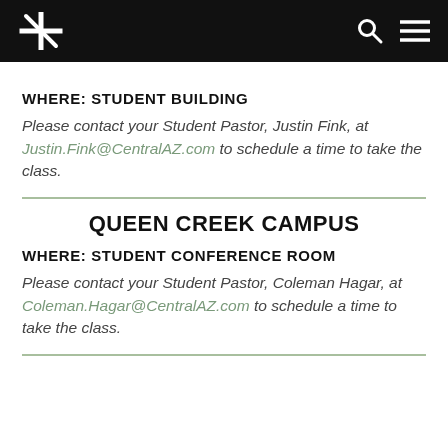Navigation bar with cross logo, search and menu icons
WHERE: STUDENT BUILDING
Please contact your Student Pastor, Justin Fink, at Justin.Fink@CentralAZ.com to schedule a time to take the class.
QUEEN CREEK CAMPUS
WHERE: STUDENT CONFERENCE ROOM
Please contact your Student Pastor, Coleman Hagar, at Coleman.Hagar@CentralAZ.com to schedule a time to take the class.